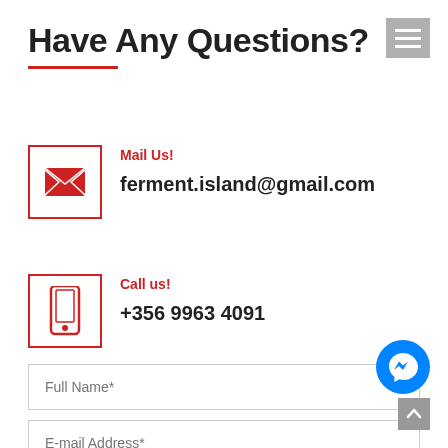Have Any Questions?
Mail Us!
ferment.island@gmail.com
Call us!
+356 9963 4091
Full Name*
E-mail Address*